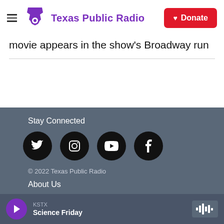Texas Public Radio | Donate
movie appears in the show's Broadway run
Stay Connected
© 2022 Texas Public Radio
About Us
KSTX Science Friday